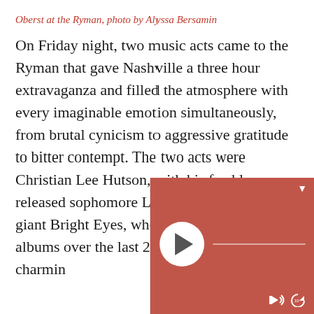Oberst at the Ryman, photo by Alyssa Bersamin
On Friday night, two music acts came to the Ryman that gave Nashville a three hour extravaganza and filled the atmosphere with every imaginable emotion simultaneously, from brutal cynicism to aggressive gratitude to bitter contempt. The two acts were Christian Lee Hutson, with his freshly released sophomore LP, Quitters, and indie giant Bright Eyes, who have put out 10 studio albums over the last 2[...] the pair [...] Christian [...] charmin[...]
[Figure (other): Audio/media player overlay with play button, progress bar, volume and replay icons on a muted red background]